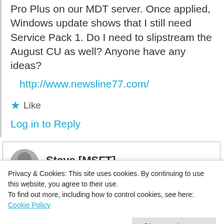Pro Plus on our MDT server. Once applied, Windows update shows that I still need Service Pack 1. Do I need to slipstream the August CU as well? Anyone have any ideas?
http://www.newsline77.com/
★ Like
Log in to Reply
Steve [MSFT]
Privacy & Cookies: This site uses cookies. By continuing to use this website, you agree to their use.
To find out more, including how to control cookies, see here: Cookie Policy
Close and accept
all the information and the best known